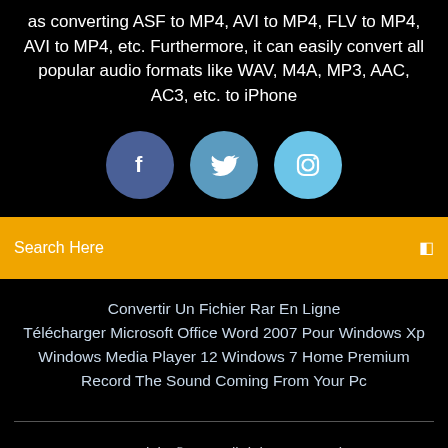as converting ASF to MP4, AVI to MP4, FLV to MP4, AVI to MP4, etc. Furthermore, it can easily convert all popular audio formats like WAV, M4A, MP3, AAC, AC3, etc. to iPhone
[Figure (illustration): Three social media icon circles: Facebook (dark blue), Twitter (medium blue), Instagram (light blue)]
Search Here
Convertir Un Fichier Rar En Ligne
Télécharger Microsoft Office Word 2007 Pour Windows Xp
Windows Media Player 12 Windows 7 Home Premium
Record The Sound Coming From Your Pc
Copyright ©2022 All rights reserved